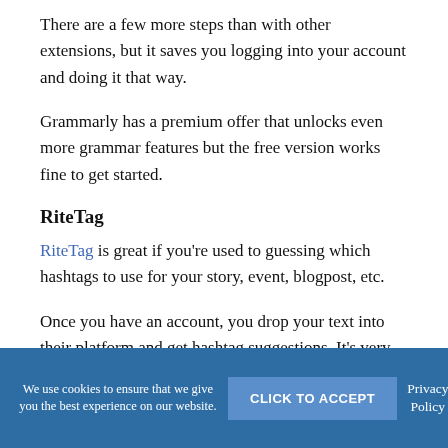There are a few more steps than with other extensions, but it saves you logging into your account and doing it that way.
Grammarly has a premium offer that unlocks even more grammar features but the free version works fine to get started.
RiteTag
RiteTag is great if you're used to guessing which hashtags to use for your story, event, blogpost, etc.
Once you have an account, you drop your text into their platform and get hashtag suggestions. It's very useful if
We use cookies to ensure that we give you the best experience on our website.
CLICK TO ACCEPT
Privacy Policy